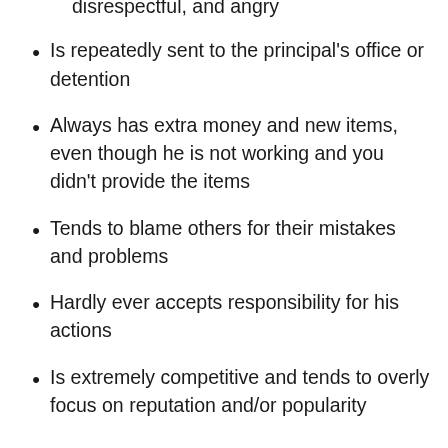disrespectful, and angry
Is repeatedly sent to the principal's office or detention
Always has extra money and new items, even though he is not working and you didn't provide the items
Tends to blame others for their mistakes and problems
Hardly ever accepts responsibility for his actions
Is extremely competitive and tends to overly focus on reputation and/or popularity